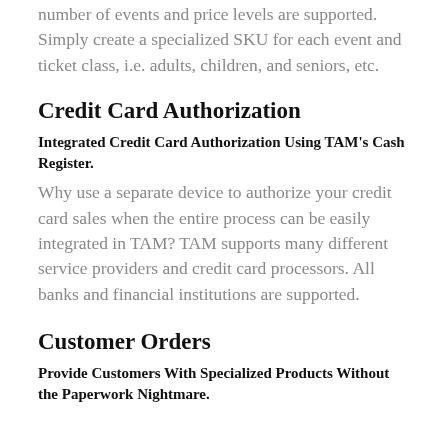number of events and price levels are supported. Simply create a specialized SKU for each event and ticket class, i.e. adults, children, and seniors, etc.
Credit Card Authorization
Integrated Credit Card Authorization Using TAM's Cash Register.
Why use a separate device to authorize your credit card sales when the entire process can be easily integrated in TAM? TAM supports many different service providers and credit card processors. All banks and financial institutions are supported.
Customer Orders
Provide Customers With Specialized Products Without the Paperwork Nightmare.